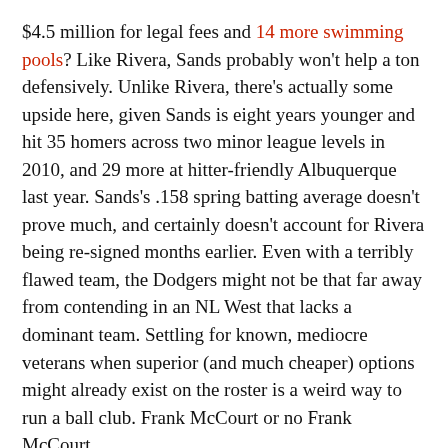$4.5 million for legal fees and 14 more swimming pools? Like Rivera, Sands probably won't help a ton defensively. Unlike Rivera, there's actually some upside here, given Sands is eight years younger and hit 35 homers across two minor league levels in 2010, and 29 more at hitter-friendly Albuquerque last year. Sands's .158 spring batting average doesn't prove much, and certainly doesn't account for Rivera being re-signed months earlier. Even with a terribly flawed team, the Dodgers might not be that far away from contending in an NL West that lacks a dominant team. Settling for known, mediocre veterans when superior (and much cheaper) options might already exist on the roster is a weird way to run a ball club. Frank McCourt or no Frank McCourt.
ROTATION (Bill James projections: IP, FIP)
Clayton Kershaw (218, 2.67)